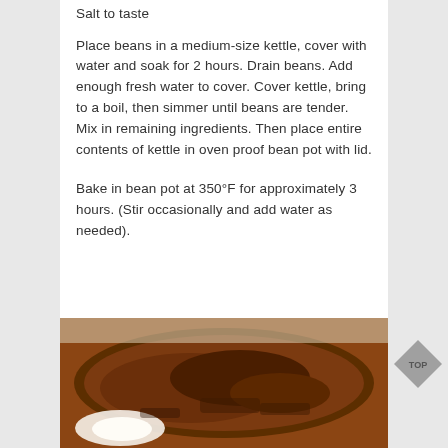Salt to taste
Place beans in a medium-size kettle, cover with water and soak for 2 hours. Drain beans. Add enough fresh water to cover. Cover kettle, bring to a boil, then simmer until beans are tender. Mix in remaining ingredients. Then place entire contents of kettle in oven proof bean pot with lid.
Bake in bean pot at 350°F for approximately 3 hours. (Stir occasionally and add water as needed).
[Figure (photo): Photo of a baked bean dish or pancake-like food on a plate with butter, shown from above, browned surface visible]